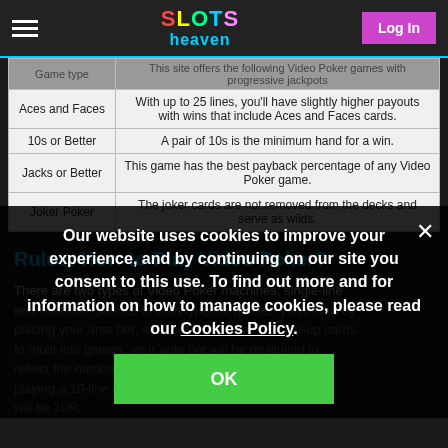SLOTS heaven — Log In
| Game type | This site offers ... | ... with progressive jackpots |
| --- | --- | --- |
| Aces and Faces | With up to 25 lines, you'll have slightly higher payouts with wins that include Aces and Faces cards. |  |
| 10s or Better | A pair of 10s is the minimum hand for a win. |  |
| Jacks or Better | This game has the best payback percentage of any Video Poker game. |  |
| Joker Poker | The joker cards are not removed from the decks and serve as wilds. |  |
Rules: How to Play Video Poker?
There are two types of Video Poker machines; single-line and multi-line games. In both types of games, you'll start by placing your ante bet, and then you're dealt 5 face-up cards. In multi-line games, your ante bet will be multiplied to reflect the number of lines. For example, if you're playing a 10-line game with a 1R ante, your total wager will be 10R.
Our website uses cookies to improve your experience, and by continuing on our site you consent to this use. To find out more and for information on how to manage cookies, please read our Cookies Policy.